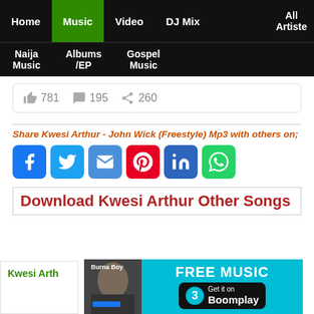Home | Music | Video | DJ Mix | All Artiste | Naija Music | Albums/EP | Gospel Music
👍 781  💬 195  ↪ 260
Share Kwesi Arthur - John Wick (Freestyle) Mp3 with others on;
[Figure (infographic): Social share icons: Facebook, Twitter, Email, Pinterest, LinkedIn, WhatsApp]
Download Kwesi Arthur Other Songs
[Figure (infographic): Boomplay ad banner: FREE MUSIC - Get it on Boomplay, with Burna Boy thumbnail]
Kwesi Arth...